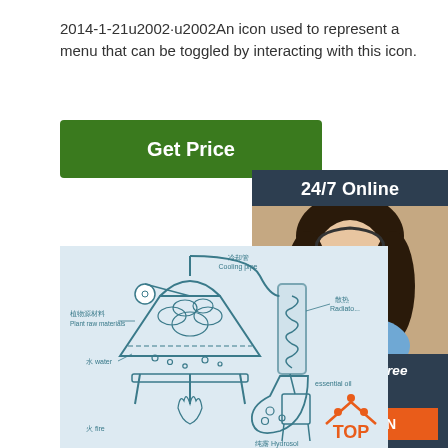2014-1-21u2002·u2002An icon used to represent a menu that can be toggled by interacting with this icon.
[Figure (other): Green 'Get Price' button]
[Figure (infographic): 24/7 Online chat panel with customer service representative photo, 'Click here for free chat!' text, and orange QUOTATION button]
[Figure (illustration): Diagram of a plant distillation apparatus showing: 植物源材料 Plant raw materials, 冷却管 Cooling pipe, 散热 Radiator, 水 water, 火 fire, 纯露 Hydrosol, essential oil labels. Schematic drawing of steam distillation equipment with boiler, condenser coil, and collection flask.]